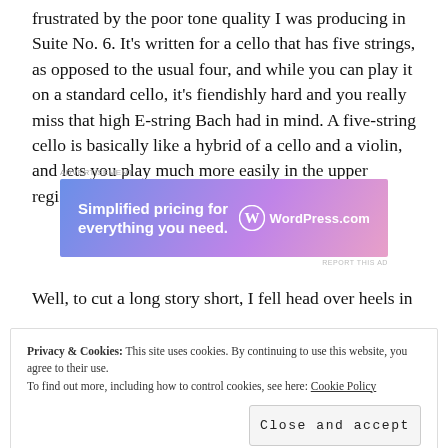frustrated by the poor tone quality I was producing in Suite No. 6. It's written for a cello that has five strings, as opposed to the usual four, and while you can play it on a standard cello, it's fiendishly hard and you really miss that high E-string Bach had in mind. A five-string cello is basically like a hybrid of a cello and a violin, and lets you play much more easily in the upper register.
[Figure (other): WordPress.com advertisement banner with text 'Simplified pricing for everything you need.' and WordPress.com logo on gradient blue-purple background]
Well, to cut a long story short, I fell head over heels in
Privacy & Cookies: This site uses cookies. By continuing to use this website, you agree to their use.
To find out more, including how to control cookies, see here: Cookie Policy
Close and accept
for Research and Economic Development Partnership